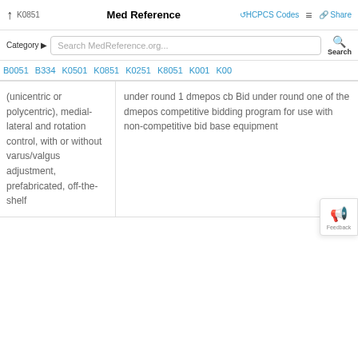↑  K0851  Med Reference  ↺HCPCS Codes  ≡  🔗 Share
Category ▶  Search MedReference.org...  🔍 Search
B0051  B334  K0501  K0851  K0251  K8051  K001  K00
(unicentric or polycentric), medial-lateral and rotation control, with or without varus/valgus adjustment, prefabricated, off-the-shelf
under round 1 dmepos cb Bid under round one of the dmepos competitive bidding program for use with non-competitive bid base equipment